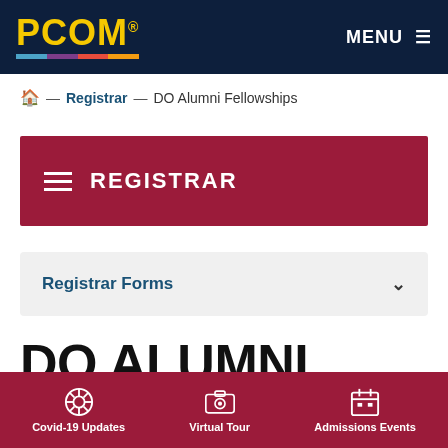PCOM MENU
🏠 — Registrar — DO Alumni Fellowships
REGISTRAR
Registrar Forms
DO ALUMNI FELLOWSHIPS
Covid-19 Updates  Virtual Tour  Admissions Events